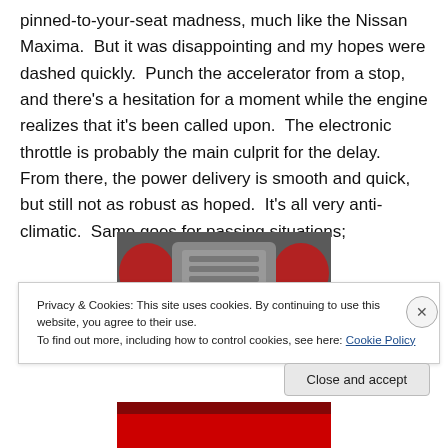pinned-to-your-seat madness, much like the Nissan Maxima.  But it was disappointing and my hopes were dashed quickly.  Punch the accelerator from a stop, and there's a hesitation for a moment while the engine realizes that it's been called upon.  The electronic throttle is probably the main culprit for the delay.  From there, the power delivery is smooth and quick, but still not as robust as hoped.  It's all very anti-climatic.  Same goes for passing situations;
[Figure (photo): Engine bay photo showing a car engine with red accents/covers]
Privacy & Cookies: This site uses cookies. By continuing to use this website, you agree to their use.
To find out more, including how to control cookies, see here: Cookie Policy
[Figure (photo): Bottom portion of a red car photo]